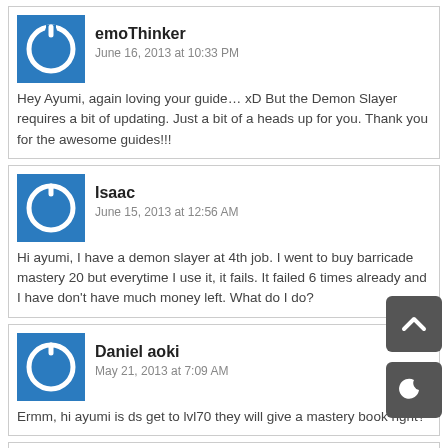emoThinker
June 16, 2013 at 10:33 PM
Hey Ayumi, again loving your guide… xD But the Demon Slayer requires a bit of updating. Just a bit of a heads up for you. Thank you for the awesome guides!!!
Isaac
June 15, 2013 at 12:56 AM
Hi ayumi, I have a demon slayer at 4th job. I went to buy barricade mastery 20 but everytime I use it, it fails. It failed 6 times already and I have don't have much money left. What do I do?
Daniel aoki
May 21, 2013 at 7:09 AM
Ermm, hi ayumi is ds get to lvl70 they will give a mastery book right?
Ayumilove [Post author]
May 14, 2013 at 8:50 PM
Hi Derek Chan, maybe GMS will unlock Demon Slayer when holiday season or during the end of year or when they have some cool event.